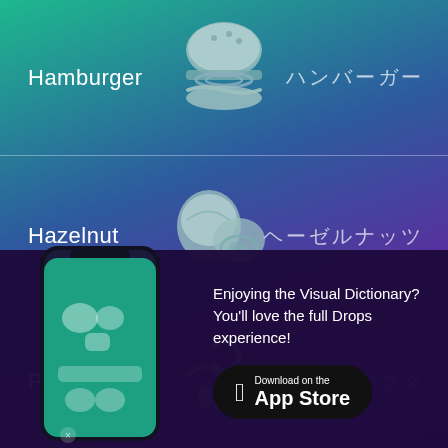[Figure (illustration): Illustrated hamburger icon in muted teal/grey tones]
Hamburger
ハンバーガー
[Figure (illustration): Illustrated hazelnut icon in muted teal/grey tones]
Hazelnut
ヘーゼルナッツ
[Figure (illustration): Illustrated pasta/spiral food icon partially visible]
[Figure (screenshot): Phone mockup showing Drops language learning app interface with food vocabulary cards]
Enjoying the Visual Dictionary? You'll love the full Drops experience!
Download on the App Store